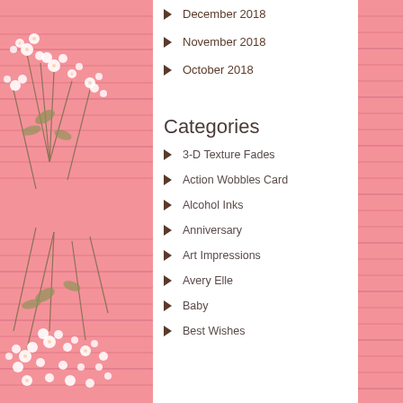[Figure (photo): Pink wooden background with white baby's breath flowers in top-left corner]
December 2018
November 2018
October 2018
Categories
3-D Texture Fades
Action Wobbles Card
Alcohol Inks
Anniversary
Art Impressions
Avery Elle
Baby
Best Wishes
[Figure (photo): Pink wooden background with white baby's breath flowers in bottom-left corner]